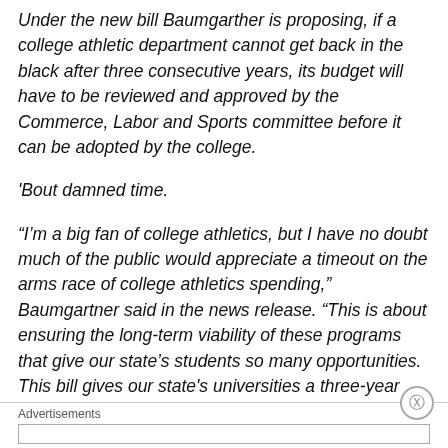Under the new bill Baumgarther is proposing, if a college athletic department cannot get back in the black after three consecutive years, its budget will have to be reviewed and approved by the Commerce, Labor and Sports committee before it can be adopted by the college.
'Bout damned time.
“I’m a big fan of college athletics, but I have no doubt much of the public would appreciate a timeout on the arms race of college athletics spending,” Baumgartner said in the news release. “This is about ensuring the long-term viability of these programs that give our state’s students so many opportunities. This bill gives our state's universities a three-year runway from today to get their budgets balanced, and if they can’t do it, my committee will help do
Advertisements